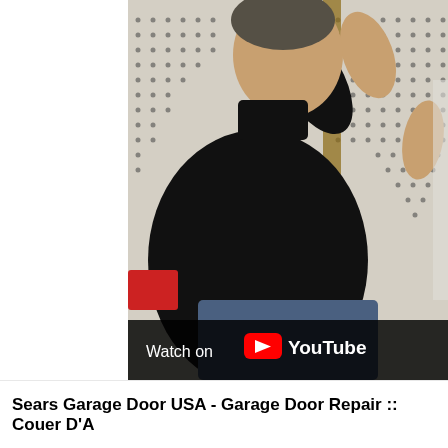[Figure (screenshot): YouTube video thumbnail showing a man in a black shirt working on a pegboard wall in a garage, with a 'Watch on YouTube' overlay bar at the bottom of the video frame.]
Sears Garage Door USA - Garage Door Repair :: Couer D'A...